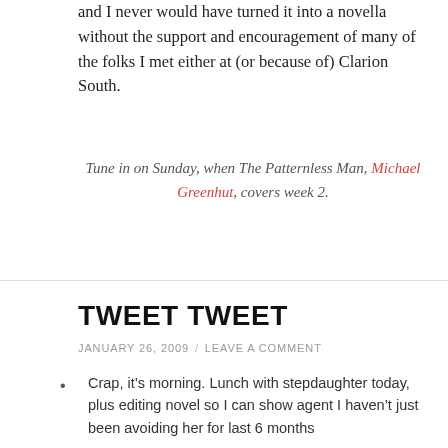and I never would have turned it into a novella without the support and encouragement of many of the folks I met either at (or because of) Clarion South.
Tune in on Sunday, when The Patternless Man, Michael Greenhut, covers week 2.
TWEET TWEET
JANUARY 26, 2009 / LEAVE A COMMENT
Crap, it’s morning. Lunch with stepdaughter today, plus editing novel so I can show agent I haven’t just been avoiding her for last 6 months
There’s a fine but significant, difference between “secret cross-dressing Nazi” and “secret Nazi cross-dresser”